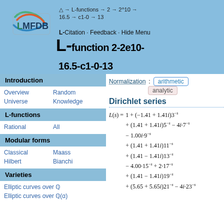△ → L-functions → 2 → 2^10 → 16.5 → c1-0 → 13
L- Citation · Feedback · Hide Menu
L-function 2-2e10-16.5-c1-0-13
Introduction
Overview
Random
Universe
Knowledge
L-functions
Rational
All
Modular forms
Classical
Maass
Hilbert
Bianchi
Varieties
Elliptic curves over Q
Elliptic curves over Q(α)
Normalization: arithmetic analytic
Dirichlet series